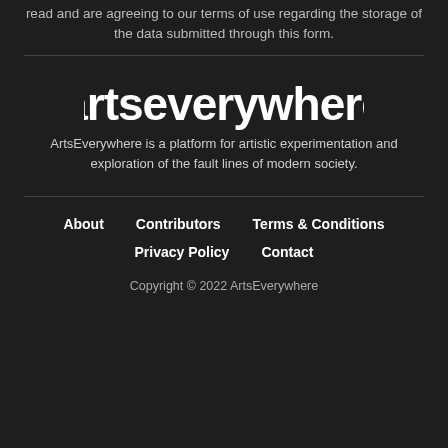read and are agreeing to our terms of use regarding the storage of the data submitted through this form.
[Figure (logo): artseverywhere logo in white rounded bold font on dark background]
ArtsEverywhere is a platform for artistic experimentation and exploration of the fault lines of modern society.
About
Contributors
Terms & Conditions
Privacy Policy
Contact
Copyright © 2022 ArtsEverywhere